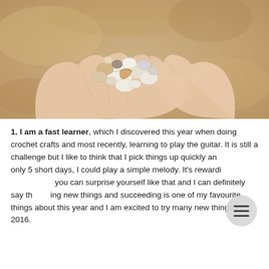[Figure (photo): Hands cupped together holding a collection of small seashells on a sandy beach background]
1. I am a fast learner, which I discovered this year when doing crochet crafts and most recently, learning to play the guitar. It is still a challenge but I like to think that I pick things up quickly and in only 5 short days, I could play a simple melody. It's rewarding when you can surprise yourself like that and I can definitely say that trying new things and succeeding is one of my favourite things about this year and I am excited to try many new things in 2016.